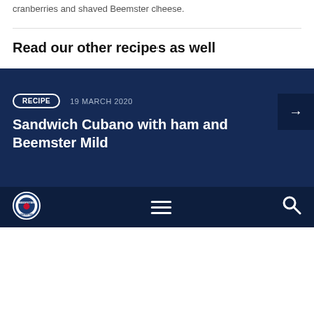cranberries and shaved Beemster cheese.
Read our other recipes as well
RECIPE   19 MARCH 2020
Sandwich Cubano with ham and Beemster Mild
[Figure (logo): Beemster logo in footer]
Beemster logo, hamburger menu icon, search icon